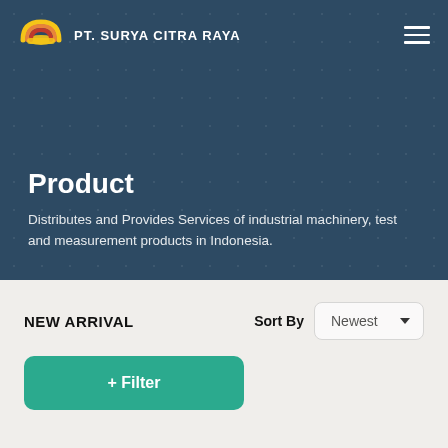[Figure (logo): PT. Surya Citra Raya logo with rainbow arc in yellow, orange, and red]
PT. SURYA CITRA RAYA
Product
Distributes and Provides Services of industrial machinery, test and measurement products in Indonesia.
NEW ARRIVAL
Sort By  Newest
+ Filter